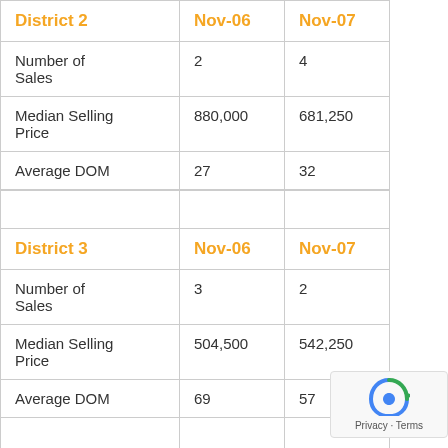| District 2 | Nov-06 | Nov-07 |
| --- | --- | --- |
| Number of Sales | 2 | 4 |
| Median Selling Price | 880,000 | 681,250 |
| Average DOM | 27 | 32 |
| District 3 | Nov-06 | Nov-07 |
| --- | --- | --- |
| Number of Sales | 3 | 2 |
| Median Selling Price | 504,500 | 542,250 |
| Average DOM | 69 | 57 |